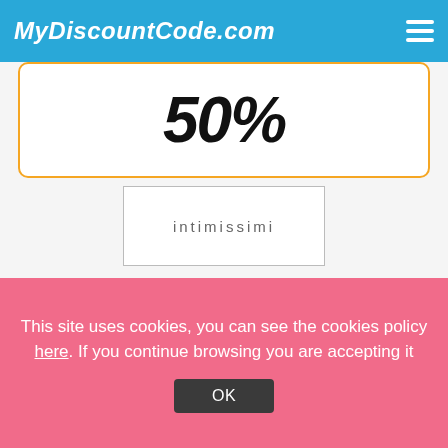MyDiscountCode.com
[Figure (other): Coupon box showing '50%' discount in bold italic text, bordered with yellow/orange outline]
[Figure (logo): Intimissimi brand logo in a bordered rectangle box with thin grey border]
Acquire with this incredible discount of 50% when purchasing in this online shop. Expires 31/12/2022.
GET INTIMISSIMI PROMO CODE
This site uses cookies, you can see the cookies policy here. If you continue browsing you are accepting it
OK